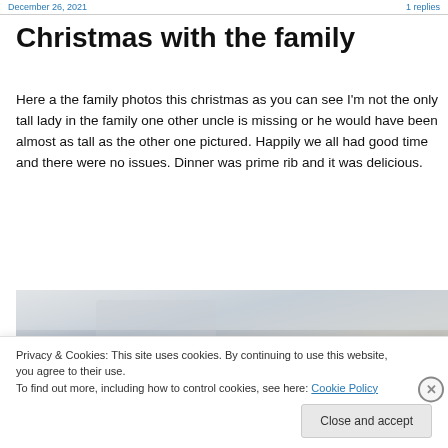December 26, 2021  ·  1 replies
Christmas with the family
Here a the family photos this christmas as you can see I'm not the only tall lady in the family one other uncle is missing or he would have been almost as tall as the other one pictured. Happily we all had good time and there were no issues. Dinner was prime rib and it was delicious.
[Figure (photo): Family Christmas photo, partially visible, light gradient background visible at top]
Privacy & Cookies: This site uses cookies. By continuing to use this website, you agree to their use.
To find out more, including how to control cookies, see here: Cookie Policy